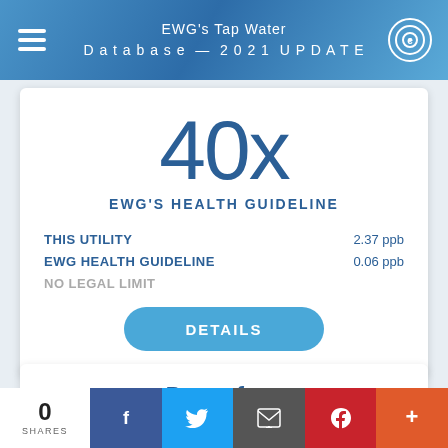EWG's Tap Water Database — 2021 UPDATE
40x
EWG'S HEALTH GUIDELINE
THIS UTILITY  2.37 ppb
EWG HEALTH GUIDELINE  0.06 ppb
NO LEGAL LIMIT
DETAILS
Bromoform
0 SHARES